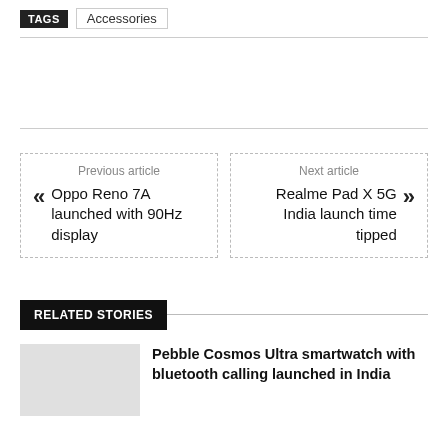TAGS  Accessories
Previous article
« Oppo Reno 7A launched with 90Hz display
Next article
Realme Pad X 5G India launch time tipped »
RELATED STORIES
Pebble Cosmos Ultra smartwatch with bluetooth calling launched in India